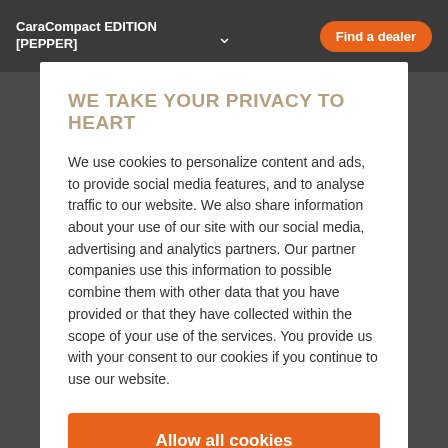CaraCompact EDITION [PEPPER]
Find a dealer
WE TAKE YOUR PRIVACY TO HEART
We use cookies to personalize content and ads, to provide social media features, and to analyse traffic to our website. We also share information about your use of our site with our social media, advertising and analytics partners. Our partner companies use this information to possible combine them with other data that you have provided or that they have collected within the scope of your use of the services. You provide us with your consent to our cookies if you continue to use our website.
Allow all cookies
Use necessary cookies only
Show details